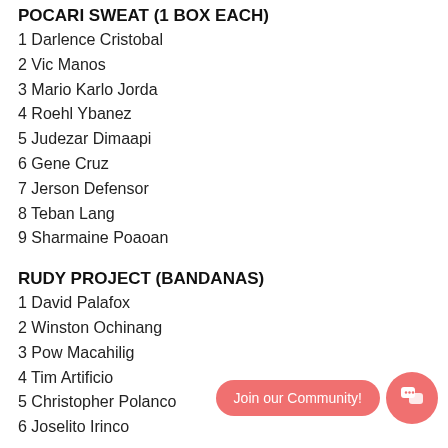POCARI SWEAT (1 BOX EACH)
1 Darlence Cristobal
2 Vic Manos
3 Mario Karlo Jorda
4 Roehl Ybanez
5 Judezar Dimaapi
6 Gene Cruz
7 Jerson Defensor
8 Teban Lang
9 Sharmaine Poaoan
RUDY PROJECT (BANDANAS)
1 David Palafox
2 Winston Ochinang
3 Pow Macahilig
4 Tim Artificio
5 Christopher Polanco
6 Joselito Irinco